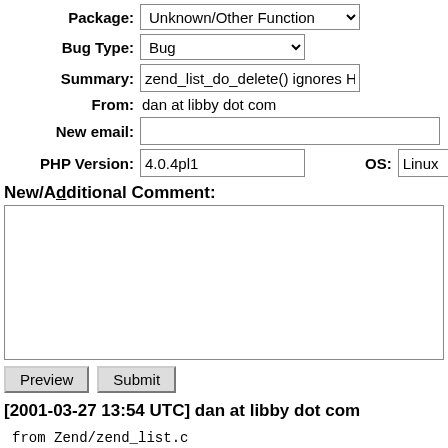Package: Unknown/Other Function
Bug Type: Bug
Summary: zend_list_do_delete() ignores HashTable* param. Potentia
From: dan at libby dot com
New email:
PHP Version: 4.0.4pl1   OS: Linux
New/Additional Comment:
[2001-03-27 13:54 UTC] dan at libby dot com
from Zend/zend_list.c
Note that list is passed in, but &EG(regular_list) is u